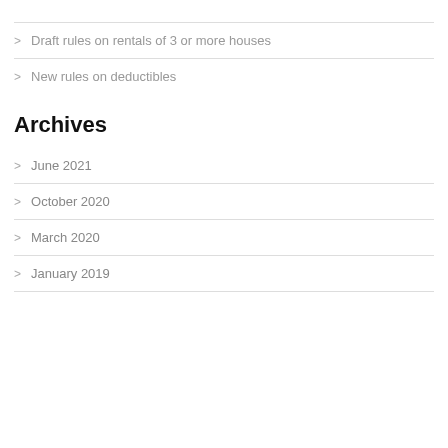Draft rules on rentals of 3 or more houses
New rules on deductibles
Archives
June 2021
October 2020
March 2020
January 2019